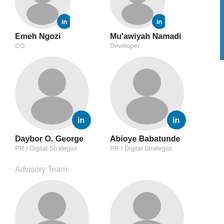[Figure (photo): Profile avatar of Emeh Ngozi with LinkedIn badge (cropped at top)]
Emeh Ngozi
CO
[Figure (photo): Profile avatar of Mu'awiyah Namadi with LinkedIn badge (cropped at top)]
Mu'awiyah Namadi
Developer
[Figure (photo): Profile avatar of Daybor O. George with LinkedIn badge]
Daybor O. George
PR / Digital Strategist
[Figure (photo): Profile avatar of Abioye Babatunde with LinkedIn badge]
Abioye Babatunde
PR / Digital Strategist
Advisory Team
[Figure (photo): Profile avatar of Manish Awasthi (no LinkedIn badge visible)]
MANISH AWASTHI
[Figure (photo): Profile avatar of Richard Trummer (no LinkedIn badge visible)]
RICHARD TRUMMER